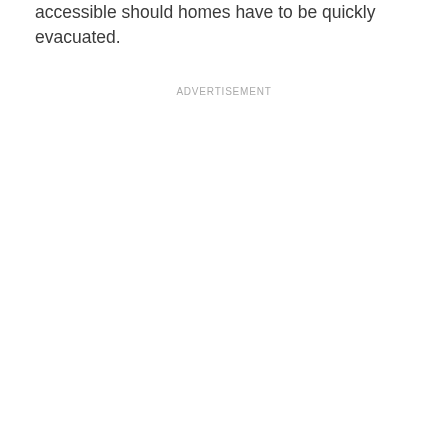accessible should homes have to be quickly evacuated.
ADVERTISEMENT